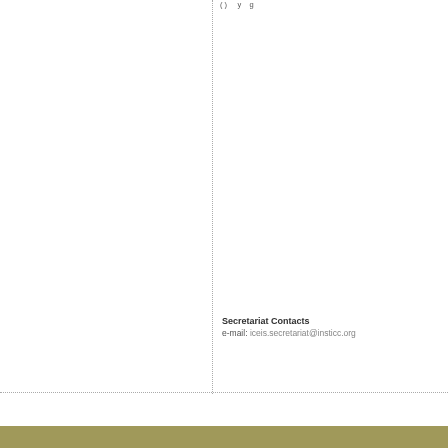( ) ...y...g
Secretariat Contacts
e-mail: iceis.secretariat@insticc.org